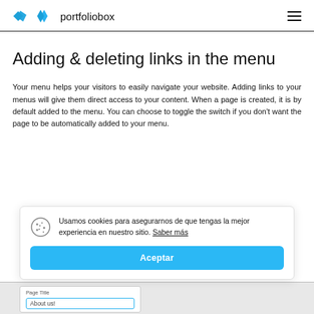portfoliobox
Adding & deleting links in the menu
Your menu helps your visitors to easily navigate your website. Adding links to your menus will give them direct access to your content. When a page is created, it is by default added to the menu. You can choose to toggle the switch if you don't want the page to be automatically added to your menu.
Usamos cookies para asegurarnos de que tengas la mejor experiencia en nuestro sitio. Saber más
Aceptar
[Figure (screenshot): Bottom strip showing a 'Page Title' input field with placeholder text 'About us!']